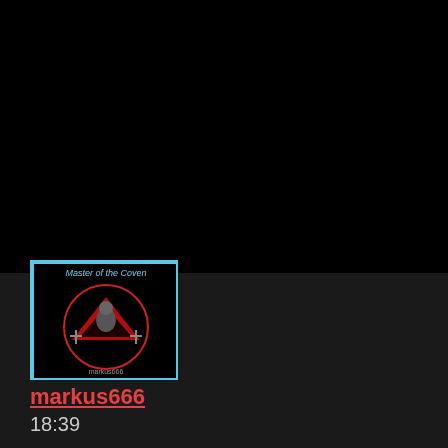[Figure (screenshot): Dark screen (mostly black) showing a media player or social app screenshot. Bottom portion has a dark grey panel with an album art thumbnail showing 'Master of the Coven' with a blue border and dark graphic, a username 'markus666' in red underlined text, and a timestamp '18:39'.]
markus666
18:39